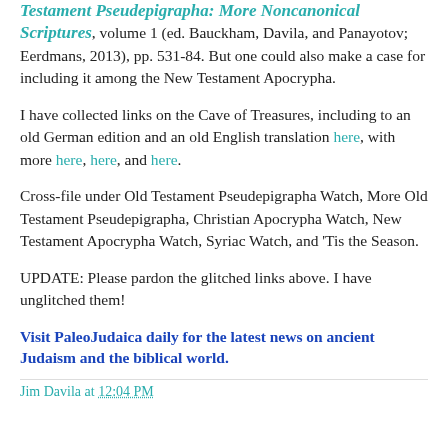Testament Pseudepigrapha: More Noncanonical Scriptures, volume 1 (ed. Bauckham, Davila, and Panayotov; Eerdmans, 2013), pp. 531-84. But one could also make a case for including it among the New Testament Apocrypha.
I have collected links on the Cave of Treasures, including to an old German edition and an old English translation here, with more here, here, and here.
Cross-file under Old Testament Pseudepigrapha Watch, More Old Testament Pseudepigrapha, Christian Apocrypha Watch, New Testament Apocrypha Watch, Syriac Watch, and 'Tis the Season.
UPDATE: Please pardon the glitched links above. I have unglitched them!
Visit PaleoJudaica daily for the latest news on ancient Judaism and the biblical world.
Jim Davila at 12:04 PM